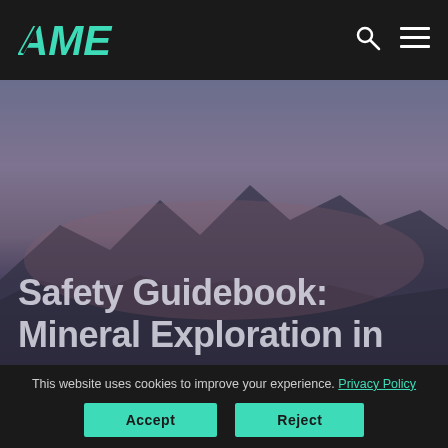[Figure (logo): AME logo in teal/green color on dark background navigation bar]
[Figure (photo): Hero landscape background image showing mountain silhouette against a twilight sky with purple and blue tones]
Safety Guidebook: Mineral Exploration in
This website uses cookies to improve your experience. Privacy Policy
Accept
Reject